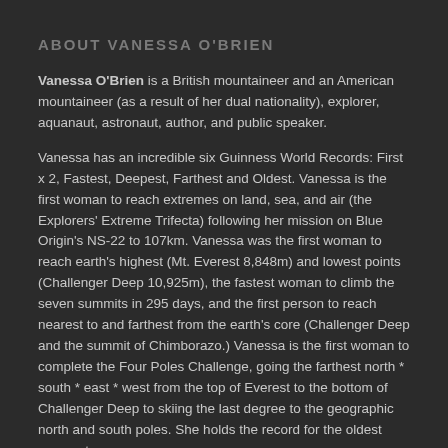ABOUT VANESSA O'BRIEN
Vanessa O'Brien is a British mountaineer and an American mountaineer (as a result of her dual nationality), explorer, aquanaut, astronaut, author, and public speaker.
Vanessa has an incredible six Guinness World Records: First x 2, Fastest, Deepest, Farthest and Oldest. Vanessa is the first woman to reach extremes on land, sea, and air (the Explorers' Extreme Trifecta) following her mission on Blue Origin's NS-22 to 107km. Vanessa was the first woman to reach earth's highest (Mt. Everest 8,848m) and lowest points (Challenger Deep 10,925m), the fastest woman to climb the seven summits in 295 days, and the first person to reach nearest to and farthest from the earth's core (Challenger Deep and the summit of Chimborazo.) Vanessa is the first woman to complete the Four Poles Challenge, going the farthest north * south * east * west from the top of Everest to the bottom of Challenger Deep to skiing the last degree to the geographic north and south poles. She holds the record for the oldest woman to